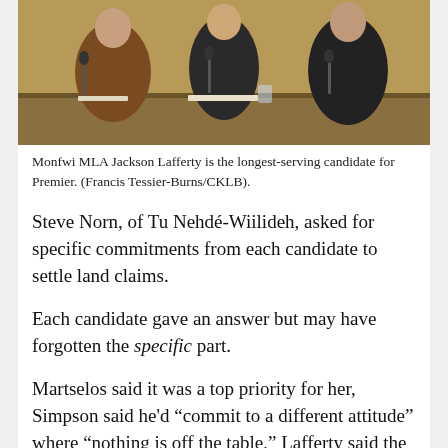[Figure (photo): Three people seated at a table in what appears to be a legislative or formal meeting room, with microphones in front of them. The background has warm golden/wood tones.]
Monfwi MLA Jackson Lafferty is the longest-serving candidate for Premier. (Francis Tessier-Burns/CKLB).
Steve Norn, of Tu Nehdé-Wiilideh, asked for specific commitments from each candidate to settle land claims.
Each candidate gave an answer but may have forgotten the specific part.
Martselos said it was a top priority for her, Simpson said he'd “commit to a different attitude” where “nothing is off the table,” Lafferty said the Premier could sit down with Indigenous leaders and agreed there needed to be a clean slate, and Cochrane said the government had to go out of its